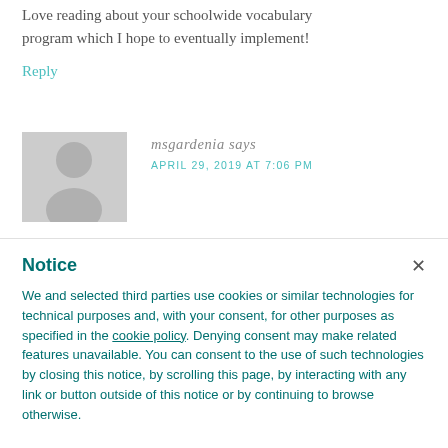Love reading about your schoolwide vocabulary program which I hope to eventually implement!
Reply
msgardenia says
APRIL 29, 2019 AT 7:06 PM
Notice
We and selected third parties use cookies or similar technologies for technical purposes and, with your consent, for other purposes as specified in the cookie policy. Denying consent may make related features unavailable. You can consent to the use of such technologies by closing this notice, by scrolling this page, by interacting with any link or button outside of this notice or by continuing to browse otherwise.